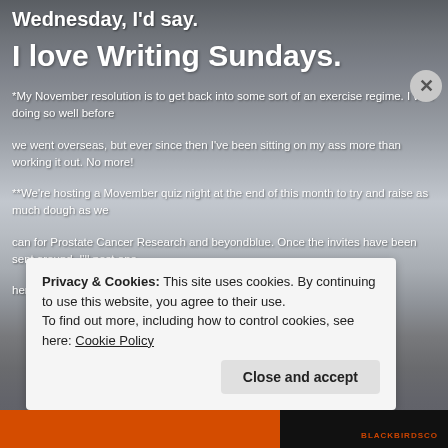Wednesday, I'd say.
I love Writing Sundays.
*My November resolution is to get back into some sort of an exercise regime. I was doing so well before we went overseas, but ever since then I've been sitting on my ass more than working it out. No more!
**We're hosting a Movember quiz night at the end of this month to try and raise as much dough as we can for Prostate Cancer Research and beyondblue. Once the invites have been sent around, I'll post one here for all to admire see.
Privacy & Cookies: This site uses cookies. By continuing to use this website, you agree to their use. To find out more, including how to control cookies, see here: Cookie Policy
Close and accept